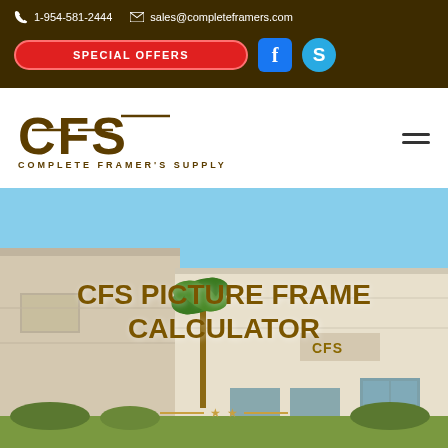1-954-581-2444  sales@completeframers.com  SPECIAL OFFERS
[Figure (logo): CFS Complete Framer's Supply logo in brown/gold colors]
CFS PICTURE FRAME CALCULATOR
[Figure (photo): Exterior of CFS warehouse building with blue sky and palm tree, with CFS sign on the building]